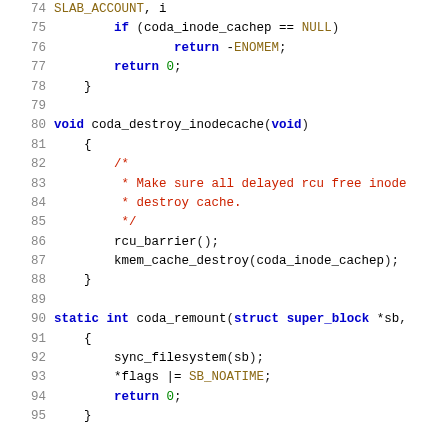[Figure (screenshot): Source code listing showing C code lines 74–95, a portion of Linux kernel coda filesystem implementation including coda_destroy_inodecache and coda_remount functions]